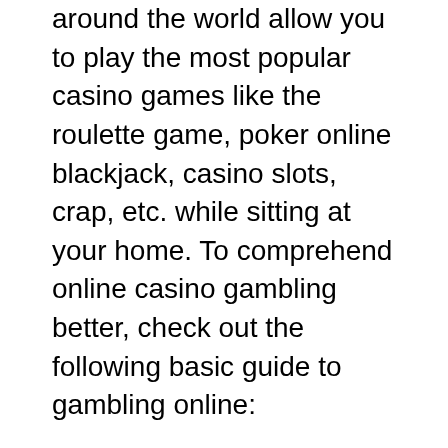around the world allow you to play the most popular casino games like the roulette game, poker online blackjack, casino slots, crap, etc. while sitting at your home. To comprehend online casino gambling better, check out the following basic guide to gambling online:
Finding a reputable online casino:Biggest myth about Internet casinos is that they're considered illegal and unauthorized which is not true at all. Many online casinos are licensed and deal in honest online betting. For a trusted online casino gaming site it is very essential to check the credibility and affiliated websites. Only register with gambling sites that guarantee an honest gaming experience.